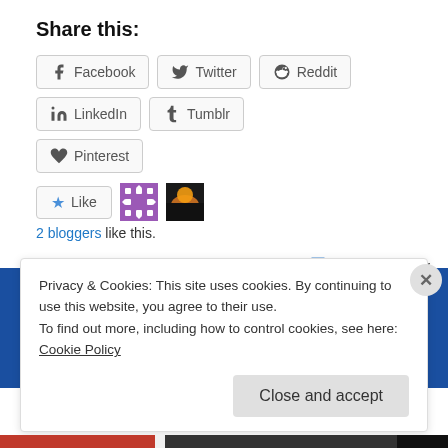Share this:
Facebook | Twitter | Reddit | LinkedIn | Tumblr | Pinterest (social share buttons)
[Figure (screenshot): Like button with star icon, and two blogger avatar thumbnails]
2 bloggers like this.
October 18, 2017    Leave a Reply
Privacy & Cookies: This site uses cookies. By continuing to use this website, you agree to their use.
To find out more, including how to control cookies, see here: Cookie Policy
Close and accept